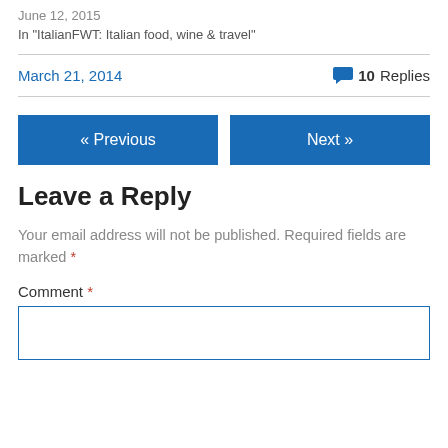June 12, 2015
In "ItalianFWT: Italian food, wine & travel"
March 21, 2014
10 Replies
« Previous
Next »
Leave a Reply
Your email address will not be published. Required fields are marked *
Comment *